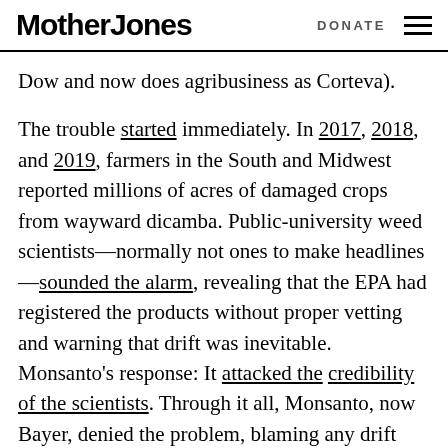Mother Jones  DONATE
Dow and now does agribusiness as Corteva).
The trouble started immediately. In 2017, 2018, and 2019, farmers in the South and Midwest reported millions of acres of damaged crops from wayward dicamba. Public-university weed scientists—normally not ones to make headlines—sounded the alarm, revealing that the EPA had registered the products without proper vetting and warning that drift was inevitable. Monsanto's response: It attacked the credibility of the scientists. Through it all, Monsanto, now Bayer, denied the problem, blaming any drift damage on farmer error, not its own products. Aggrieved farmers argued with